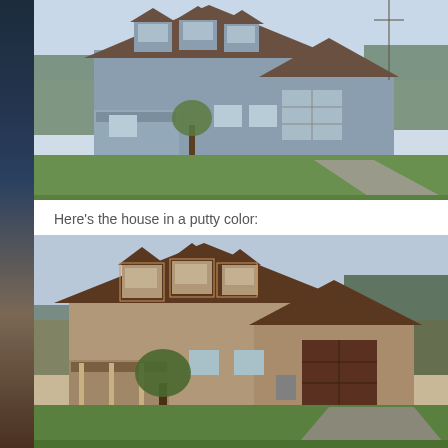[Figure (photo): Exterior photo of a Cape Cod style house with blue-gray siding and brown roof, attached garage, long driveway, and green lawn surrounded by trees]
Here's the house in a putty color:
[Figure (photo): Exterior photo of the same house rendered in a putty/tan color with dark brown roof, dormer windows, covered porch, and attached garage with dark door, green lawn]